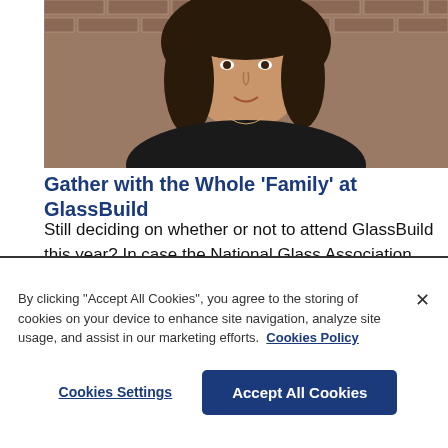[Figure (photo): Portrait photo of a woman with dark hair wearing a black top, in front of a brick wall background]
Gather with the Whole ‘Family’ at GlassBuild
Still deciding on whether or not to attend GlassBuild this year? In case the National Glass Association (NGA) hasn’t convinced you yet, maybe this will help sway your thoughts...
By clicking “Accept All Cookies”, you agree to the storing of cookies on your device to enhance site navigation, analyze site usage, and assist in our marketing efforts. Cookies Policy
Cookies Settings
Accept All Cookies